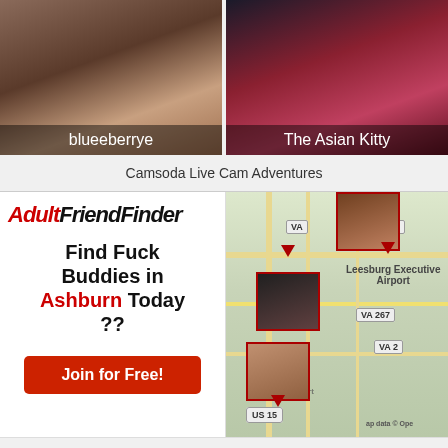[Figure (photo): Two webcam thumbnails side by side: left shows 'blueeberrye', right shows 'The Asian Kitty']
Camsoda Live Cam Adventures
[Figure (infographic): AdultFriendFinder ad: Find Fuck Buddies in Ashburn Today ?? Join for Free! with a map showing local profiles]
Find Sexy Singles in Ashburn!